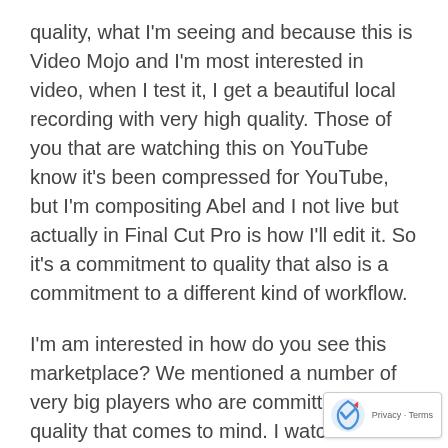quality, what I'm seeing and because this is Video Mojo and I'm most interested in video, when I test it, I get a beautiful local recording with very high quality. Those of you that are watching this on YouTube know it's been compressed for YouTube, but I'm compositing Abel and I not live but actually in Final Cut Pro is how I'll edit it. So it's a commitment to quality that also is a commitment to a different kind of workflow.
I'm am interested in how do you see this marketplace? We mentioned a number of very big players who are committed to the quality that comes to mind. I watched on Netflix, I think it was Oprah interviewing Barack Obama and they did a video, I believe I saw each of them had their own video production system and they merged them together. So this is a step towards that, versus I